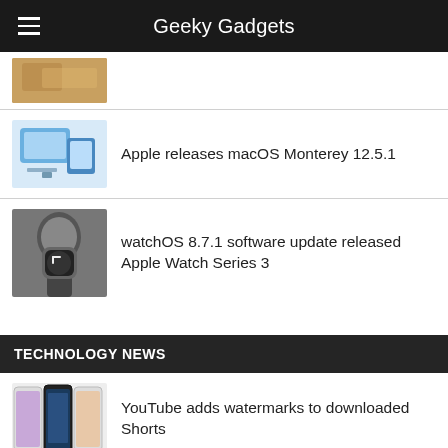Geeky Gadgets
[Figure (photo): Partial thumbnail of food/hands item at top, cropped]
[Figure (photo): iMac / MacBook computer on desk thumbnail]
Apple releases macOS Monterey 12.5.1
[Figure (photo): Person holding Apple Watch Series 3 thumbnail]
watchOS 8.7.1 software update released Apple Watch Series 3
TECHNOLOGY NEWS
[Figure (photo): Three phone screens showing YouTube Shorts]
YouTube adds watermarks to downloaded Shorts